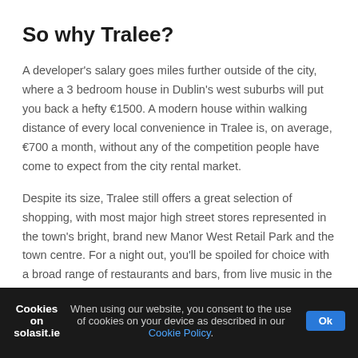So why Tralee?
A developer's salary goes miles further outside of the city, where a 3 bedroom house in Dublin's west suburbs will put you back a hefty €1500. A modern house within walking distance of every local convenience in Tralee is, on average, €700 a month, without any of the competition people have come to expect from the city rental market.
Despite its size, Tralee still offers a great selection of shopping, with most major high street stores represented in the town's bright, brand new Manor West Retail Park and the town centre. For a night out, you'll be spoiled for choice with a broad range of restaurants and bars, from live music in the Blasket and An Teach Beag to the best pint of Guinness in town in An Chearnóg.
Cookies on solasit.ie    When using our website, you consent to the use of cookies on your device as described in our Cookie Policy.  Ok